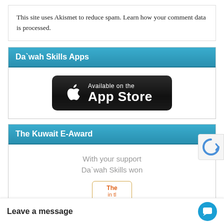This site uses Akismet to reduce spam. Learn how your comment data is processed.
Da`wah Skills Apps
[Figure (other): App Store download button with Apple logo, text 'Available on the App Store' on black rounded rectangle background]
The Kuwait E-Award
With your support Da`wah Skills won
[Figure (other): Partial view of Kuwait E-Award badge/certificate in orange border]
Leave a message